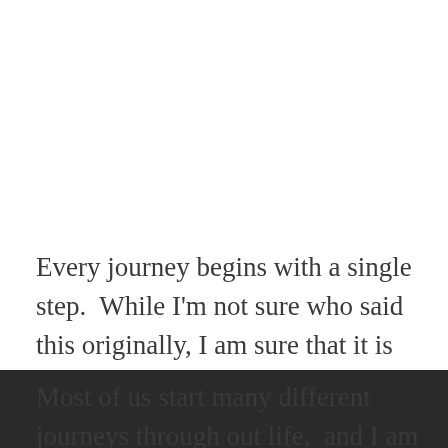Every journey begins with a single step.  While I'm not sure who said this originally, I am sure that it is true.
Most of us start many different journeys through out life,  and I am no